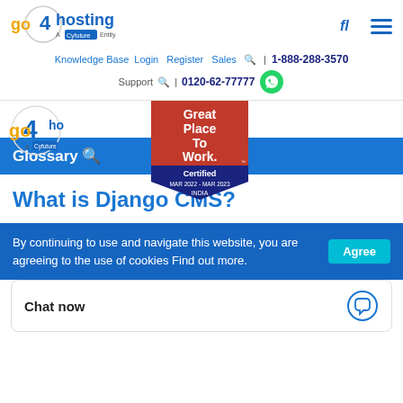[Figure (logo): go4hosting logo - A Cyfuture Entity]
[Figure (logo): Navigation icons: fi and hamburger menu]
Knowledge Base  Login  Register  Sales  🔍 | 1-888-288-3570
Support  🔍 | 0120-62-77777
[Figure (logo): go4hosting logo second instance]
[Figure (illustration): Great Place To Work Certified MAR 2022 - MAR 2023 INDIA badge]
Glossary 🔍
What is Django CMS?
By continuing to use and navigate this website, you are agreeing to the use of cookies Find out more.  Agree
Chat now